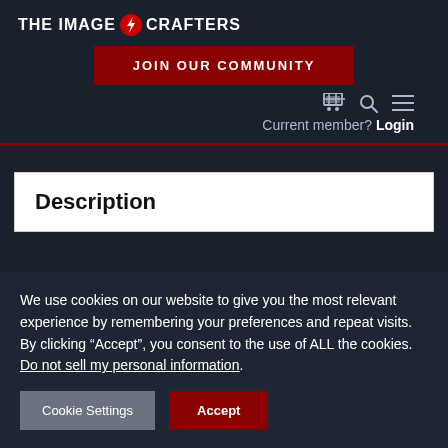THE IMAGE CRAFTERS
JOIN OUR COMMUNITY
Current member? Login
Description
We use cookies on our website to give you the most relevant experience by remembering your preferences and repeat visits. By clicking “Accept”, you consent to the use of ALL the cookies. Do not sell my personal information.
Cookie Settings  Accept